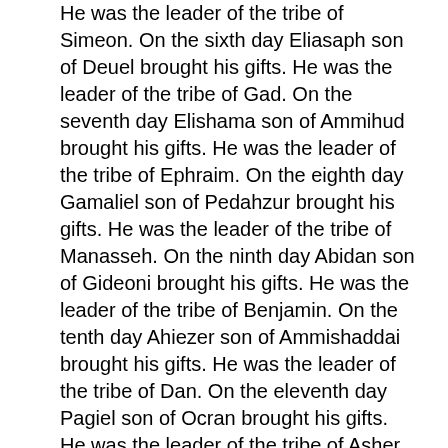He was the leader of the tribe of Simeon. On the sixth day Eliasaph son of Deuel brought his gifts. He was the leader of the tribe of Gad. On the seventh day Elishama son of Ammihud brought his gifts. He was the leader of the tribe of Ephraim. On the eighth day Gamaliel son of Pedahzur brought his gifts. He was the leader of the tribe of Manasseh. On the ninth day Abidan son of Gideoni brought his gifts. He was the leader of the tribe of Benjamin. On the tenth day Ahiezer son of Ammishaddai brought his gifts. He was the leader of the tribe of Dan. On the eleventh day Pagiel son of Ocran brought his gifts. He was the leader of the tribe of Asher. On the twelfth day Ahira son of Enan brought his gifts. He was the leader of the tribe of Naphtali.